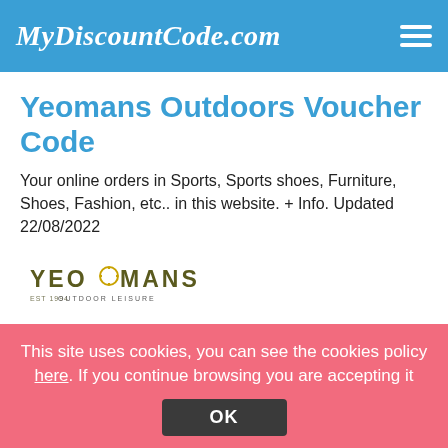MyDiscountCode.com
Yeomans Outdoors Voucher Code
Your online orders in Sports, Sports shoes, Furniture, Shoes, Fashion, etc.. in this website. + Info. Updated 22/08/2022
[Figure (logo): Yeomans Outdoor Leisure logo with stylized text and compass icon]
Yeomans Outdoors Promo
This site uses cookies, you can see the cookies policy here. If you continue browsing you are accepting it
OK